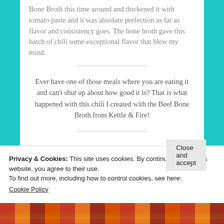Bone Broth this time around and thickened it with tomato paste and it was absolute perfection as far as flavor and consistency goes. The bone broth gave this batch of chili some exceptional flavor that blew my mind.
Ever have one of those meals where you are eating it and can't shut up about how good it is? That is what happened with this chili I created with the Beef Bone Broth from Kettle & Fire!
Privacy & Cookies: This site uses cookies. By continuing to use this website, you agree to their use.
To find out more, including how to control cookies, see here: Cookie Policy
Close and accept
[Figure (photo): Partial view of a food photo at the bottom of the page, showing chili or a similar dish.]